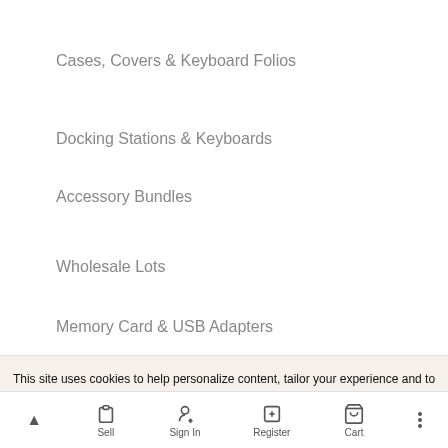Cases, Covers & Keyboard Folios
Docking Stations & Keyboards
Accessory Bundles
Wholesale Lots
Memory Card & USB Adapters
Stickers
Laptops & Netbooks
This site uses cookies to help personalize content, tailor your experience and to keep you logged in if you register. By continuing to use this site, you are consenting to our use of cookies.
Sell | Sign In | Register | Cart